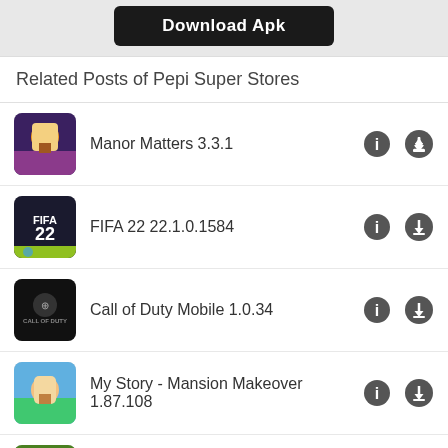[Figure (screenshot): Download Apk button - black rounded rectangle with white text]
Related Posts of Pepi Super Stores
Manor Matters 3.3.1
FIFA 22 22.1.0.1584
Call of Duty Mobile 1.0.34
My Story - Mansion Makeover 1.87.108
Mad Skills Motocross 2 2.32.4398
Leave a Reply